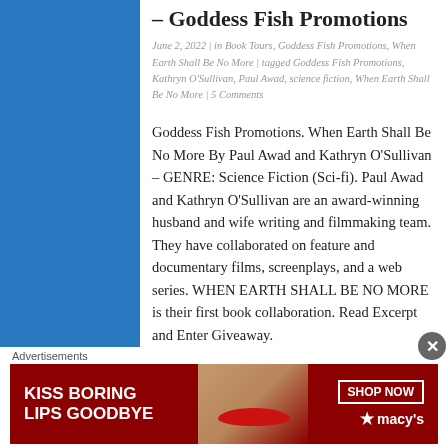– Goddess Fish Promotions
June 2, 2022 | in Book Tours, Goddess Fish Promotions, When Earth Shall Be No More | tagged Goddess Fish Promotions, Kathryn O'Sullivan, Paul Awad, science fiction, When Earth Shall Be No More | 5 Comments
Goddess Fish Promotions. When Earth Shall Be No More By Paul Awad and Kathryn O’Sullivan – GENRE: Science Fiction (Sci-fi). Paul Awad and Kathryn O’Sullivan are an award-winning husband and wife writing and filmmaking team. They have collaborated on feature and documentary films, screenplays, and a web series. WHEN EARTH SHALL BE NO MORE is their first book collaboration. Read Excerpt and Enter Giveaway.
Share this:
Advertisements
[Figure (photo): Macy's advertisement banner: 'KISS BORING LIPS GOODBYE' with SHOP NOW button and Macy's star logo on dark red background with woman's face]